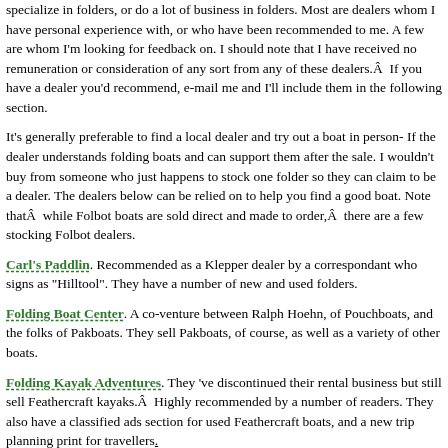specialize in folders, or do a lot of business in folders. Most are dealers whom I have personal experience with, or who have been recommended to me. A few are whom I'm looking for feedback on. I should note that I have received no remuneration or consideration of any sort from any of these dealers.Â  If you have a dealer you'd recommend, e-mail me and I'll include them in the following section.
It's generally preferable to find a local dealer and try out a boat in person- If the dealer understands folding boats and can support them after the sale. I wouldn't buy from someone who just happens to stock one folder so they can claim to be a dealer. The dealers below can be relied on to help you find a good boat. Note thatÂ  while Folbot boats are sold direct and made to order,Â  there are a few stocking Folbot dealers.
Carl's Paddlin. Recommended as a Klepper dealer by a correspondant who signs as "Hilltool". They have a number of new and used folders.
Folding Boat Center. A co-venture between Ralph Hoehn, of Pouchboats, and the folks of Pakboats. They sell Pakboats, of course, as well as a variety of other boats.
Folding Kayak Adventures. They 've discontinued their rental business but still sell Feathercraft kayaks.Â  Highly recommended by a number of readers. They also have a classified ads section for used Feathercraft boats, and a new trip planning print for travellers.
Fujita North America (Formerly FoldingCraft). Sells Ally canoes and kayaks, and Fujita folding kayaks from Japan. No customer reports yet, but Mike Palmer calls it the largest Ally dealer in North America. The web page is now complete and fu...